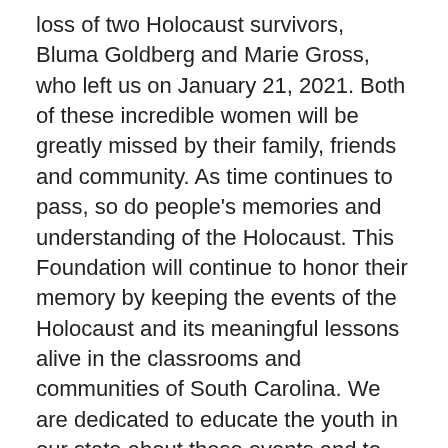loss of two Holocaust survivors, Bluma Goldberg and Marie Gross, who left us on January 21, 2021. Both of these incredible women will be greatly missed by their family, friends and community. As time continues to pass, so do people's memories and understanding of the Holocaust. This Foundation will continue to honor their memory by keeping the events of the Holocaust and its meaningful lessons alive in the classrooms and communities of South Carolina. We are dedicated to educate the youth in our state about these events and to teach them to become citizens who raise awareness and opposition to hate and discrimination of all kinds.
Our thoughts and prayers are with the Goldberg and Gross families. Please learn more about their stories of strength, courage, and love by reading their obituaries and archived history with the provided links. May their lives be an inspiration to others.
(partial line cut off at bottom)